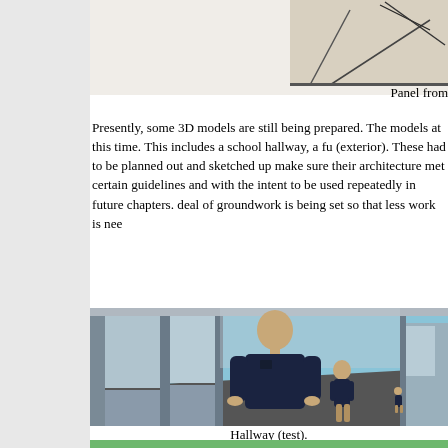[Figure (illustration): Partial view of a panel or architectural sketch, cut off at the top of the page.]
Panel from
Presently, some 3D models are still being prepared. The models at this time. This includes a school hallway, a fu (exterior). These had to be planned out and sketched up make sure their architecture met certain guidelines and with the intent to be used repeatedly in future chapters. deal of groundwork is being set so that less work is nee
[Figure (illustration): 3D rendered hallway scene with two male figures in dark shirts standing in a modern school hallway with large windows and grey walls.]
Hallway (test).